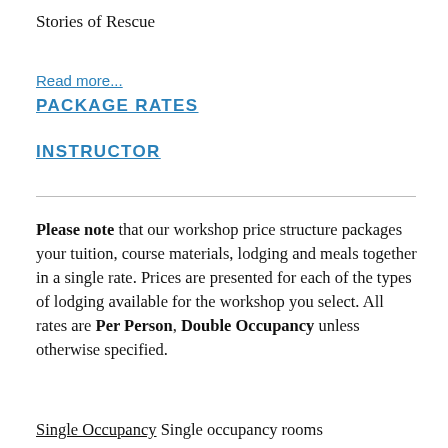Stories of Rescue
Read more...
PACKAGE RATES
INSTRUCTOR
Please note that our workshop price structure packages your tuition, course materials, lodging and meals together in a single rate. Prices are presented for each of the types of lodging available for the workshop you select. All rates are Per Person, Double Occupancy unless otherwise specified.
Single Occupancy Single occupancy rooms